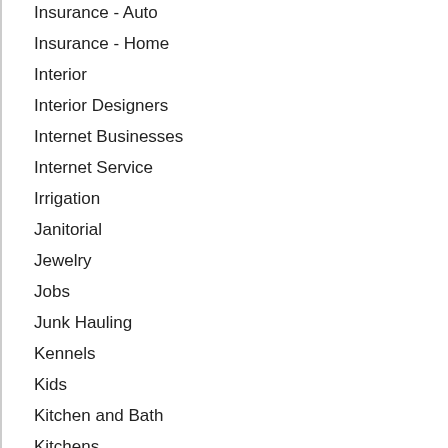Insurance - Auto
Insurance - Home
Interior
Interior Designers
Internet Businesses
Internet Service
Irrigation
Janitorial
Jewelry
Jobs
Junk Hauling
Kennels
Kids
Kitchen and Bath
Kitchens
Land Surveys